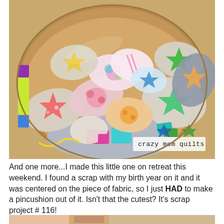[Figure (photo): A wooden bowl filled with numerous small colorful pincushions made from quilting fabric scraps, featuring various star patterns and patchwork designs in bright colors including red, teal, pink, orange, yellow, green, and blue. A watermark reads 'crazy mom quilts' in the lower right corner.]
And one more...I made this little one on retreat this weekend. I found a scrap with my birth year on it and it was centered on the piece of fabric, so I just HAD to make a pincushion out of it. Isn't that the cutest? It's scrap project # 116!